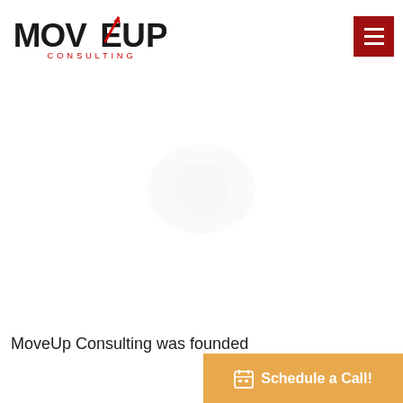[Figure (logo): MoveUp Consulting logo with upward arrow and red text]
[Figure (illustration): Faint ghost/placeholder image in the hero area]
MoveUp Consulting was founded
[Figure (other): Schedule a Call! orange CTA button with calendar icon]